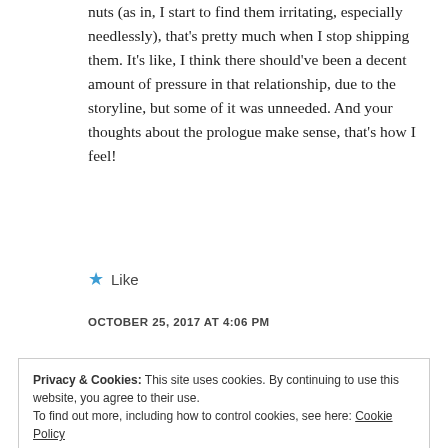nuts (as in, I start to find them irritating, especially needlessly), that's pretty much when I stop shipping them. It's like, I think there should've been a decent amount of pressure in that relationship, due to the storyline, but some of it was unneeded. And your thoughts about the prologue make sense, that's how I feel!
Like
OCTOBER 25, 2017 AT 4:06 PM
Privacy & Cookies: This site uses cookies. By continuing to use this website, you agree to their use.
To find out more, including how to control cookies, see here: Cookie Policy
Close and accept